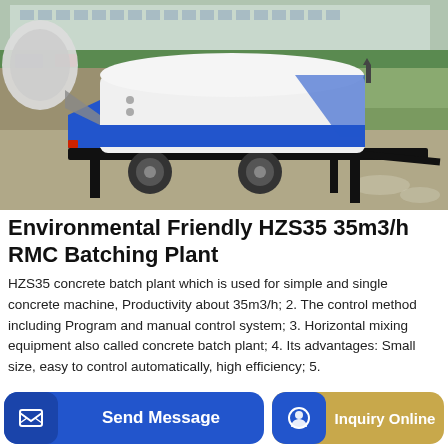[Figure (photo): Photo of Environmental Friendly HZS35 concrete batching plant — a white and blue trailer-mounted machine on a gravel site with a building in the background]
Environmental Friendly HZS35 35m3/h RMC Batching Plant
HZS35 concrete batch plant which is used for simple and single concrete machine, Productivity about 35m3/h; 2. The control method including Program and manual control system; 3. Horizontal mixing equipment also called concrete batch plant; 4. Its advantages: Small size, easy to control automatically, high efficiency; 5.